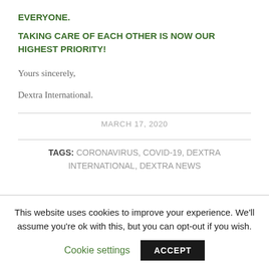EVERYONE.
TAKING CARE OF EACH OTHER IS NOW OUR HIGHEST PRIORITY!
Yours sincerely,
Dextra International.
MARCH 17, 2020
TAGS: CORONAVIRUS, COVID-19, DEXTRA INTERNATIONAL, DEXTRA NEWS
This website uses cookies to improve your experience. We'll assume you're ok with this, but you can opt-out if you wish.
Cookie settings   ACCEPT